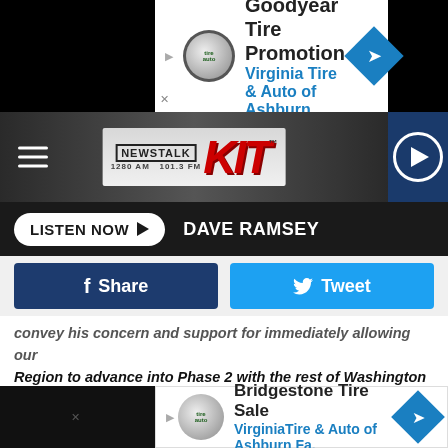[Figure (other): Goodyear Tire Promotion advertisement banner - Virginia Tire & Auto of Ashburn with logo and directional diamond icon]
[Figure (logo): NewsTalk KIT 1280 AM 101.3 FM radio station logo on dark navigation bar]
LISTEN NOW ▶  DAVE RAMSEY
[Figure (other): Facebook Share button (dark blue) and Twitter Tweet button (light blue) social share bar]
convey his concern and support for immediately allowing our Region to advance into Phase 2 with the rest of Washington state. Much thanks to Commissioner Greg Tompkins, Commissioner Will McCay, Commissioner Cory Wright, and Commissioner Brad Peck for coordinating all their data with area Health Districts and believing we could do this. Our Yakima Health District staff stepped up to the challenge and helped our partner health agencies communicate successfully
[Figure (other): Bridgestone Tire Sale advertisement - VirginiaTire & Auto of Ashburn Fa. with logo and directional diamond icon]